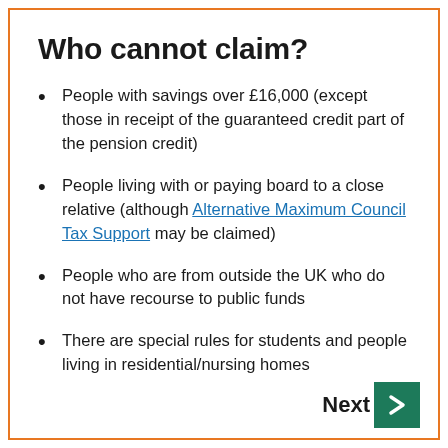Who cannot claim?
People with savings over £16,000 (except those in receipt of the guaranteed credit part of the pension credit)
People living with or paying board to a close relative (although Alternative Maximum Council Tax Support may be claimed)
People who are from outside the UK who do not have recourse to public funds
There are special rules for students and people living in residential/nursing homes
Next